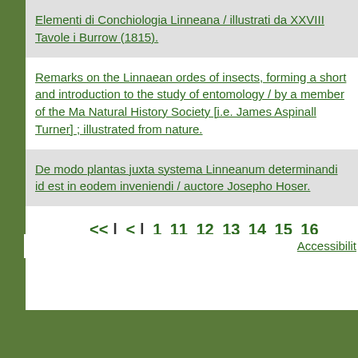Elementi di Conchiologia Linneana / illustrati da XXVIII Tavole i Burrow (1815).
Remarks on the Linnaean ordes of insects, forming a short and introduction to the study of entomology / by a member of the Ma Natural History Society [i.e. James Aspinall Turner] ; illustrated from nature.
De modo plantas juxta systema Linneanum determinandi id est in eodem inveniendi / auctore Josepho Hoser.
<< | < | 1 11 12 13 14 15 16 17 18 19 20 21 22 23 2
Accessibility